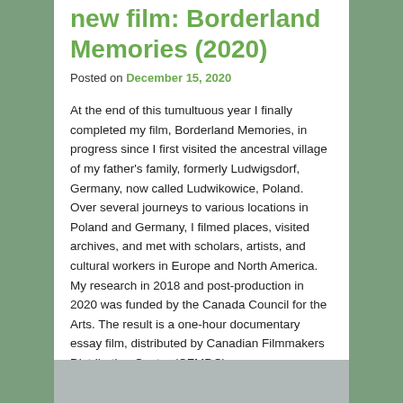new film: Borderland Memories (2020)
Posted on December 15, 2020
At the end of this tumultuous year I finally completed my film, Borderland Memories, in progress since I first visited the ancestral village of my father's family, formerly Ludwigsdorf, Germany, now called Ludwikowice, Poland. Over several journeys to various locations in Poland and Germany, I filmed places, visited archives, and met with scholars, artists, and cultural workers in Europe and North America. My research in 2018 and post-production in 2020 was funded by the Canada Council for the Arts. The result is a one-hour documentary essay film, distributed by Canadian Filmmakers Distribution Centre (CFMDC).
Go to film page: https://ediesteiner.com/films-2/borderlandfilm
[Figure (photo): Partial image of a film still or related visual, cropped at the bottom of the page, appears grey/silver toned.]